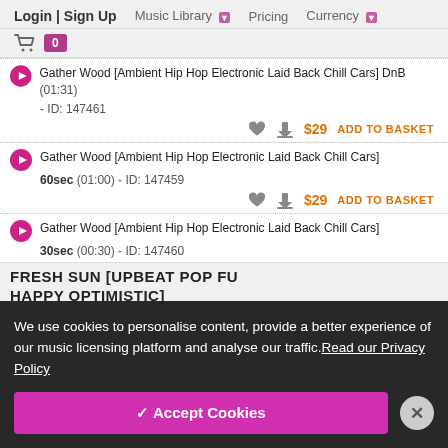Login | Sign Up   Music Library   Pricing   Currency
Gather Wood [Ambient Hip Hop Electronic Laid Back Chill Cars] DnB (01:31) - ID: 147461 — $29 ADD TO BASKET
Gather Wood [Ambient Hip Hop Electronic Laid Back Chill Cars] 60sec (01:00) - ID: 147459 — $29 ADD TO BASKET
Gather Wood [Ambient Hip Hop Electronic Laid Back Chill Cars] 30sec (00:30) - ID: 147460
We use cookies to personalise content, provide a better experience of our music licensing platform and analyse our traffic. Read our Privacy Policy
✓ Accept Cookies
FRESH SUN [UPBEAT POP FU... HAPPY OPTIMISTIC]